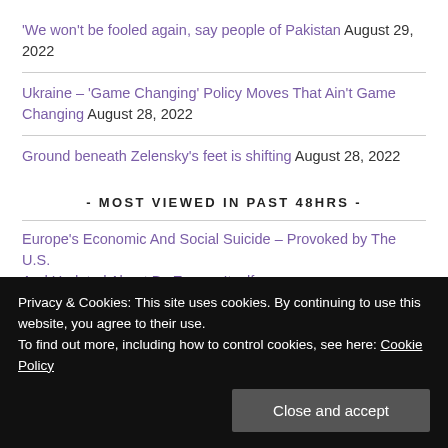'We won't be fooled again, say people of Pakistan August 29, 2022
Ukraine – 'Game Changing' Policy Moves That Ain't Game Changing August 28, 2022
Ground beneath Zelensky's feet is shifting August 28, 2022
- MOST VIEWED IN PAST 48HRS -
Europe's Economic And Social Suicide – Provoked by The U.S. And Updated About By Europe Itself
Privacy & Cookies: This site uses cookies. By continuing to use this website, you agree to their use.
To find out more, including how to control cookies, see here: Cookie Policy
Close and accept